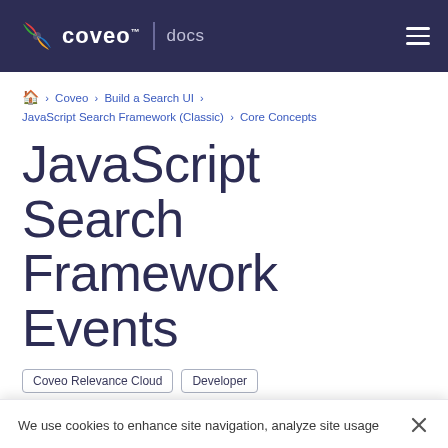coveo™ | docs
Coveo > Build a Search UI > JavaScript Search Framework (Classic) > Core Concepts
JavaScript Search Framework Events
Coveo Relevance Cloud | Developer | JavaScript Search Framework | Product Documentation
In this article
Attaching Event Handlers
Embedding Event Handlers
We use cookies to enhance site navigation, analyze site usage